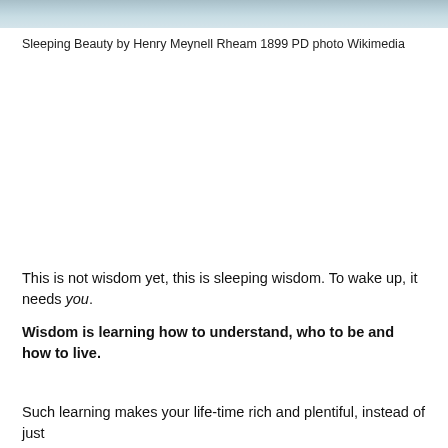[Figure (photo): Partial view of painting - Sleeping Beauty by Henry Meynell Rheam, 1899, showing a dreamy pastel landscape scene, cropped at top of page]
Sleeping Beauty by Henry Meynell Rheam 1899 PD photo Wikimedia
This is not wisdom yet, this is sleeping wisdom. To wake up, it needs you.
Wisdom is learning how to understand, who to be and how to live.
Such learning makes your life-time rich and plentiful, instead of just spending it as is, you will rather grow toward discovering meaning in life at